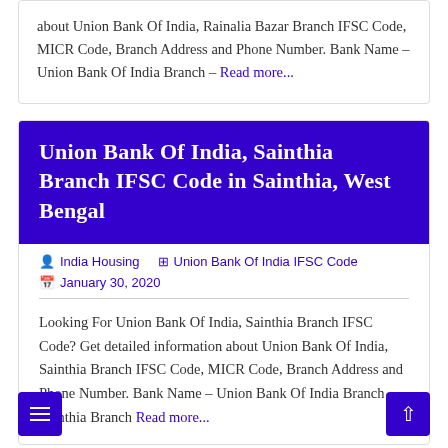about Union Bank Of India, Rainalia Bazar Branch IFSC Code, MICR Code, Branch Address and Phone Number. Bank Name – Union Bank Of India Branch – Read more...
Union Bank Of India, Sainthia Branch IFSC Code in Sainthia, West Bengal
India Housing  Union Bank Of India IFSC Code  January 30, 2020
Looking For Union Bank Of India, Sainthia Branch IFSC Code? Get detailed information about Union Bank Of India, Sainthia Branch IFSC Code, MICR Code, Branch Address and Phone Number. Bank Name – Union Bank Of India Branch – Sainthia Branch Read more...